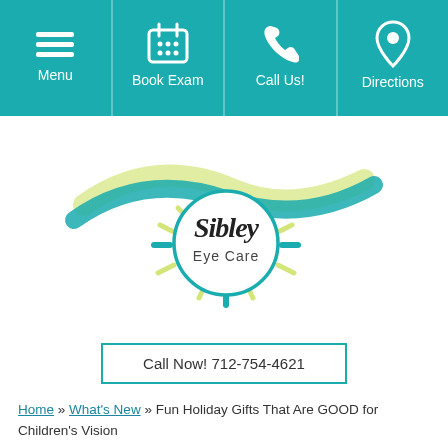Menu | Book Exam | Call Us! | Directions
[Figure (logo): Sibley Eye Care logo with sun/wave design in teal and yellow-green]
Call Now! 712-754-4621
Home » What's New » Fun Holiday Gifts That Are GOOD for Children's Vision